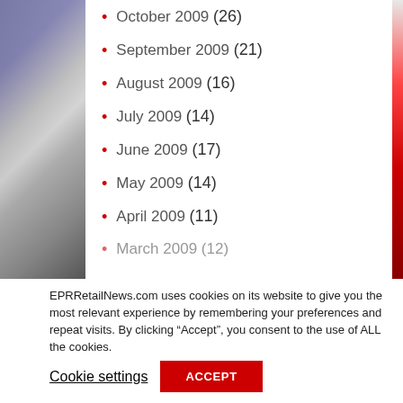October 2009 (26)
September 2009 (21)
August 2009 (16)
July 2009 (14)
June 2009 (17)
May 2009 (14)
April 2009 (11)
March 2009 (12)
EPRRetailNews.com uses cookies on its website to give you the most relevant experience by remembering your preferences and repeat visits. By clicking “Accept”, you consent to the use of ALL the cookies.
Cookie settings
ACCEPT